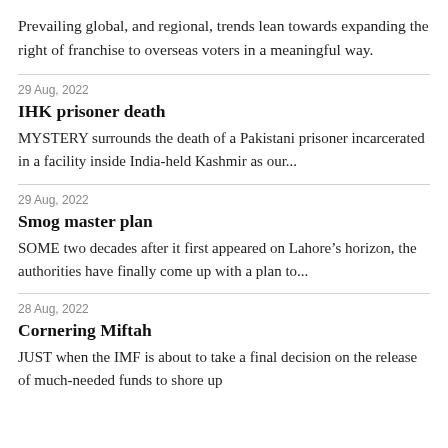Prevailing global, and regional, trends lean towards expanding the right of franchise to overseas voters in a meaningful way.
29 Aug, 2022
IHK prisoner death
MYSTERY surrounds the death of a Pakistani prisoner incarcerated in a facility inside India-held Kashmir as our...
29 Aug, 2022
Smog master plan
SOME two decades after it first appeared on Lahore’s horizon, the authorities have finally come up with a plan to...
28 Aug, 2022
Cornering Miftah
JUST when the IMF is about to take a final decision on the release of much-needed funds to shore up